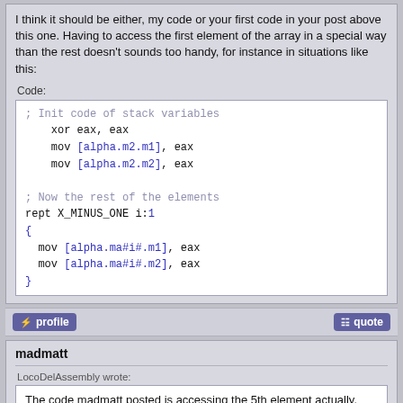I think it should be either, my code or your first code in your post above this one. Having to access the first element of the array in a special way than the rest doesn't sounds too handy, for instance in situations like this:
Code:
[Figure (screenshot): Code block showing assembly-like pseudocode with comments, xor, mov instructions and rept loop]
profile | quote buttons
madmatt
LocoDelAssembly wrote:
The code madmatt posted is accessing the 5th element actually.